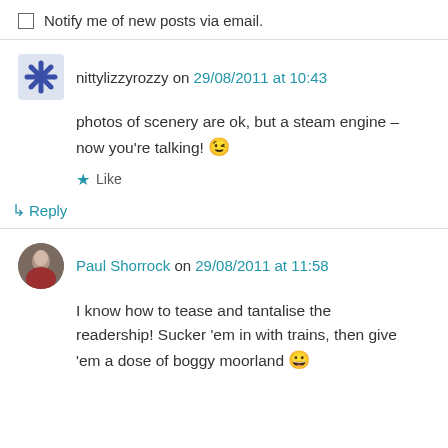Notify me of new posts via email.
nittylizzyrozzy on 29/08/2011 at 10:43
photos of scenery are ok, but a steam engine – now you're talking! 😉
Like
↳ Reply
Paul Shorrock on 29/08/2011 at 11:58
I know how to tease and tantalise the readership! Sucker 'em in with trains, then give 'em a dose of boggy moorland 😀